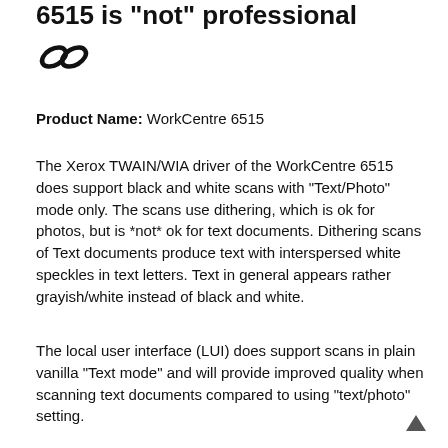6515 is "not" professional
[Figure (other): Chain link / share icon (two overlapping oval chain links)]
Product Name: WorkCentre 6515
The Xerox TWAIN/WIA driver of the WorkCentre 6515 does support black and white scans with "Text/Photo" mode only. The scans use dithering, which is ok for photos, but is *not* ok for text documents. Dithering scans of Text documents produce text with interspersed white speckles in text letters. Text in general appears rather grayish/white instead of black and white.
The local user interface (LUI) does support scans in plain vanilla "Text mode" and will provide improved quality when scanning text documents compared to using "text/photo" setting.